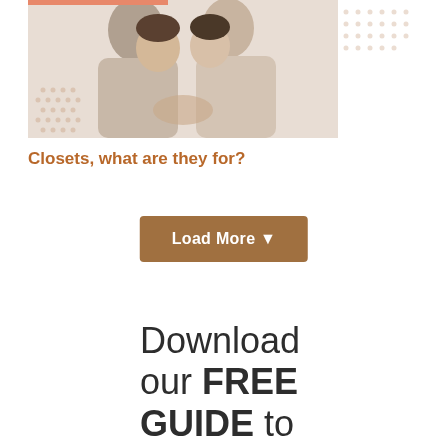[Figure (photo): Two young men facing each other closely, appearing to share an intimate moment, wearing light-colored t-shirts. Decorative dot pattern overlay on bottom-left and coral/orange line at top. Background is soft and blurred.]
Closets, what are they for?
Load More ▾
Download our FREE GUIDE to discover